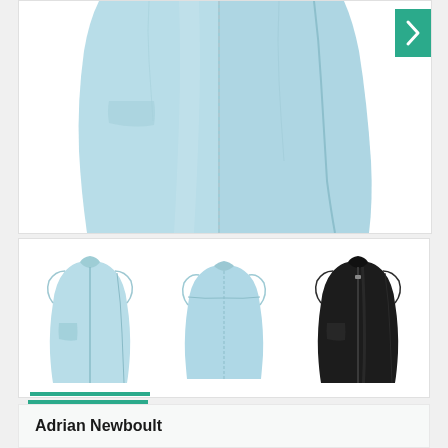[Figure (photo): Large close-up product photo of a light blue sleeveless fleece vest/gilet, showing the front torso area with zipper detail and side seam. A green next arrow button is visible in the top right corner.]
[Figure (photo): Three thumbnail images of a fleece vest: first thumbnail shows the light blue vest from the front (currently selected, indicated by a green underline), second thumbnail shows the light blue vest from the back, and third thumbnail shows the same vest style in black.]
Adrian Newboult